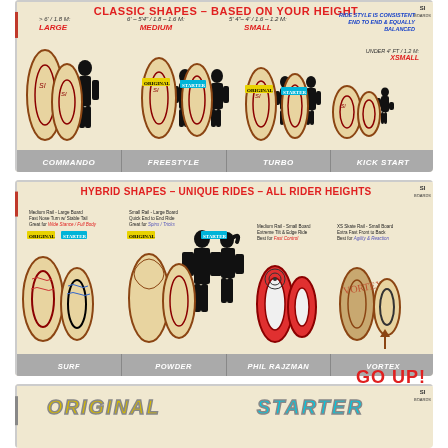[Figure (infographic): Classic Shapes based on rider height - showing COMMANDO, FREESTYLE, TURBO, KICK START board types with silhouettes for LARGE (>6'/1.8M), MEDIUM (6'-5'4"/1.8-1.6M), SMALL (5'4"-4'/1.6-1.2M), XSMALL (under 4ft/1.2M) sizes. ORIGINAL and STARTER variants shown. Note: Ride style is consistent end to end & equally balanced.]
[Figure (infographic): Hybrid Shapes - Unique Rides - All Rider Heights. Board types: SURF (Medium Rail, Large Board, Fast Nose Turn w/ Stable Tail, Great for Wide Stance/Full Body), POWDER (Small Rail, Large Board, Quick End to End Ride, Great for Spins/Tricks), PHIL RAJZMAN (Medium Rail, Small Board, Extreme Tilt & Edge Ride, Best for Fast Control), VORTEX (XS Skate Rail, Small Board, Extra Fast Front to Back, Best for Agility & Reaction). ORIGINAL and STARTER variants shown. GO UP! arrow.]
[Figure (infographic): Quick Compare section showing ORIGINAL and STARTER labels at bottom of page (partially visible).]